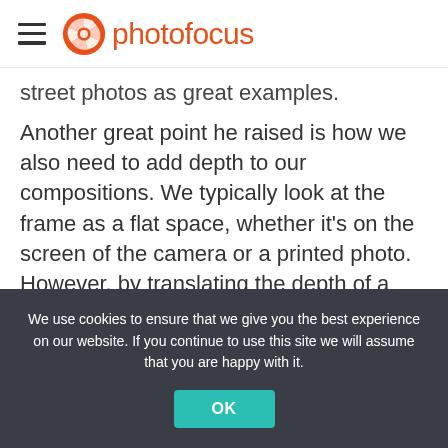photofocus
street photos as great examples.
Another great point he raised is how we also need to add depth to our compositions. We typically look at the frame as a flat space, whether it's on the screen of the camera or a printed photo. However, by translating the depth of a scene in our composition, we can effectively lead the eyes around a shot and provide a more immersive experience for viewers.
We use cookies to ensure that we give you the best experience on our website. If you continue to use this site we will assume that you are happy with it.